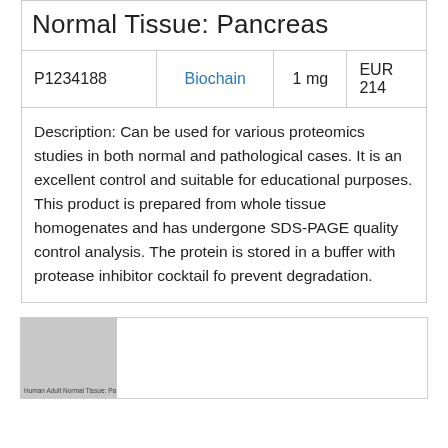Normal Tissue: Pancreas
|  |  |  |  |
| --- | --- | --- | --- |
| P1234188 | Biochain | 1 mg | EUR 214 |
Description: Can be used for various proteomics studies in both normal and pathological cases. It is an excellent control and suitable for educational purposes. This product is prepared from whole tissue homogenates and has undergone SDS-PAGE quality control analysis. The protein is stored in a buffer with protease inhibitor cocktail fo prevent degradation.
[Figure (photo): Partial image of a gel or blot labeled 'Human Adult Normal Tissue: Pa...' shown at bottom left of page]